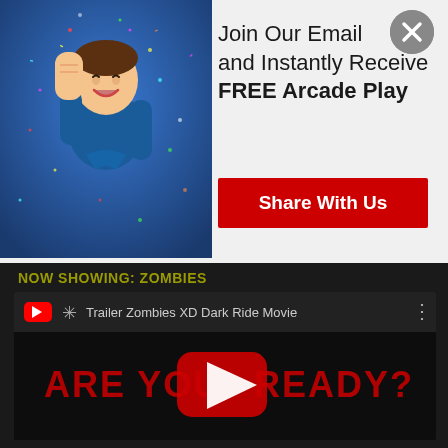[Figure (photo): Happy young boy in blue polo shirt with fist raised, colorful confetti on blue background]
Join Our Email [close button] ho and Instantly Receive FREE Arcade Play
[Figure (other): Close button (X) circle overlay]
Share With Us
NOW SHOWING: Zombies
[Figure (screenshot): YouTube video embed showing 'Trailer Zombies XD Dark Ride Movie' with dark background and red text 'ARE YOU READY?']